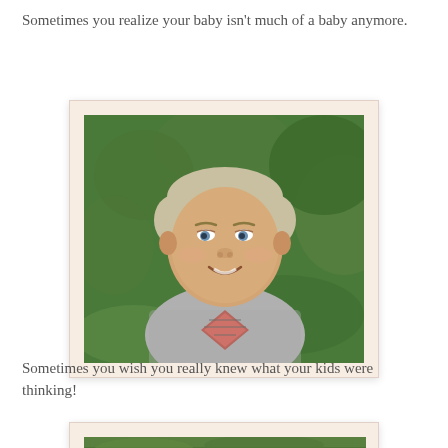Sometimes you realize your baby isn't much of a baby anymore.
[Figure (photo): Young boy with short blonde hair smiling at camera, wearing a grey graphic t-shirt with red design, standing in front of green grass background. Photo has a polaroid-style frame with cream/peach border.]
Sometimes you wish you really knew what your kids were thinking!
[Figure (photo): Partial view of another outdoor photo, cropped at bottom of page.]